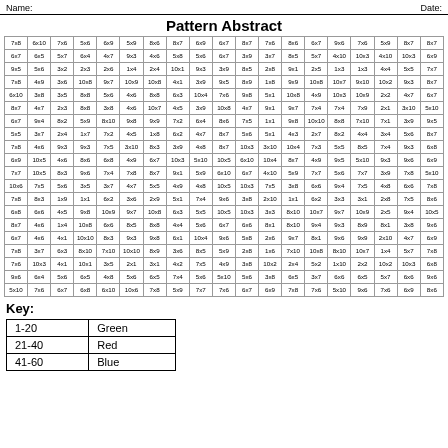Name:                                          Date:
Pattern Abstract
| 7x8 | 6x10 | 7x6 | 5x6 | 6x9 | 5x9 | 8x6 | 8x7 | 6x9 | 6x7 | 8x7 | 7x6 | 8x6 | 6x7 | 9x6 | 7x6 | 5x9 | 8x7 | 8x7 |
| 6x7 | 6x5 | 5x7 | 6x4 | 4x7 | 9x3 | 4x6 | 5x8 | 5x6 | 6x7 | 3x9 | 3x7 | 8x5 | 5x7 | 4x10 | 10x3 | 4x10 | 10x3 | 6x9 |
| 9x5 | 5x6 | 3x2 | 2x3 | 2x6 | 1x4 | 2x4 | 10x1 | 9x3 | 3x9 | 8x5 | 2x8 | 9x1 | 2x5 | 1x3 | 1x3 | 4x4 | 5x5 | 7x7 |
| 7x8 | 4x9 | 3x6 | 10x8 | 9x7 | 10x9 | 10x8 | 4x1 | 3x9 | 9x5 | 8x9 | 1x8 | 9x9 | 10x8 | 10x7 | 9x10 | 10x2 | 9x3 | 8x7 |
| 6x10 | 3x8 | 3x5 | 8x8 | 5x6 | 4x6 | 8x8 | 6x3 | 10x4 | 7x6 | 9x8 | 5x1 | 10x8 | 4x9 | 10x3 | 10x9 | 2x2 | 4x7 | 6x7 |
| 8x7 | 4x7 | 2x3 | 8x8 | 3x8 | 4x6 | 10x7 | 4x5 | 3x9 | 10x8 | 4x7 | 9x1 | 9x7 | 7x4 | 7x4 | 7x9 | 2x1 | 3x10 | 5x10 |
| 6x7 | 9x4 | 8x2 | 5x9 | 8x10 | 9x8 | 9x9 | 7x2 | 6x4 | 8x6 | 7x5 | 1x1 | 9x8 | 10x10 | 8x8 | 7x10 | 7x1 | 3x9 | 9x5 |
| 5x5 | 3x7 | 2x4 | 1x7 | 7x2 | 4x5 | 1x8 | 6x2 | 4x7 | 8x7 | 5x6 | 5x1 | 4x3 | 2x7 | 8x2 | 4x4 | 3x4 | 5x6 | 8x7 |
| 7x8 | 4x6 | 9x3 | 9x3 | 7x5 | 3x10 | 8x3 | 3x9 | 4x8 | 8x7 | 10x3 | 3x10 | 10x4 | 7x3 | 5x5 | 8x5 | 7x4 | 9x3 | 6x8 |
| 6x9 | 10x5 | 4x6 | 8x6 | 6x8 | 4x9 | 6x7 | 10x3 | 5x10 | 10x5 | 6x10 | 10x4 | 8x7 | 4x9 | 9x5 | 5x10 | 9x3 | 9x6 | 6x9 |
| 7x7 | 10x5 | 8x3 | 9x6 | 7x4 | 7x8 | 8x7 | 9x1 | 5x9 | 6x10 | 6x7 | 4x10 | 5x9 | 7x7 | 5x6 | 7x7 | 3x9 | 7x8 | 5x10 |
| 10x6 | 7x5 | 5x6 | 3x5 | 3x7 | 4x7 | 5x5 | 4x9 | 4x8 | 10x5 | 10x3 | 7x5 | 3x8 | 6x6 | 9x4 | 7x5 | 4x8 | 6x6 | 7x8 |
| 7x8 | 8x3 | 1x9 | 1x1 | 6x2 | 3x6 | 2x9 | 5x1 | 7x4 | 9x6 | 3x8 | 2x10 | 1x1 | 6x2 | 3x3 | 3x1 | 2x8 | 7x5 | 8x6 |
| 6x8 | 6x6 | 4x5 | 9x8 | 10x9 | 9x7 | 10x8 | 6x3 | 5x5 | 10x5 | 10x3 | 3x3 | 8x10 | 10x7 | 9x7 | 10x9 | 2x5 | 9x4 | 10x5 |
| 8x7 | 4x6 | 1x4 | 10x8 | 6x6 | 8x5 | 8x8 | 4x4 | 5x6 | 6x7 | 6x6 | 8x1 | 8x10 | 9x4 | 9x3 | 8x9 | 8x1 | 3x8 | 9x6 |
| 6x7 | 4x6 | 4x1 | 10x10 | 8x3 | 9x3 | 9x8 | 6x1 | 10x4 | 9x6 | 5x8 | 2x6 | 9x7 | 8x1 | 9x6 | 9x9 | 2x10 | 4x7 | 6x9 |
| 7x8 | 3x7 | 6x3 | 8x10 | 7x10 | 10x10 | 8x9 | 3x6 | 8x5 | 5x9 | 2x8 | 1x6 | 7x10 | 10x8 | 8x10 | 10x7 | 1x4 | 5x7 | 7x8 |
| 7x6 | 10x3 | 4x1 | 10x1 | 3x5 | 2x1 | 3x1 | 4x2 | 7x5 | 4x9 | 3x8 | 10x2 | 2x4 | 5x2 | 1x10 | 2x2 | 10x2 | 10x3 | 6x8 |
| 9x6 | 6x4 | 5x6 | 6x5 | 4x8 | 5x6 | 6x5 | 7x4 | 5x6 | 5x10 | 5x6 | 3x8 | 6x5 | 3x7 | 6x6 | 6x5 | 5x7 | 6x6 | 9x6 |
| 5x10 | 7x6 | 6x7 | 6x8 | 6x10 | 10x6 | 7x8 | 5x9 | 7x7 | 7x6 | 6x7 | 6x9 | 7x8 | 7x6 | 5x10 | 9x6 | 7x6 | 6x9 | 8x6 |
Key:
| Range | Color |
| --- | --- |
| 1-20 | Green |
| 21-40 | Red |
| 41-60 | Blue |